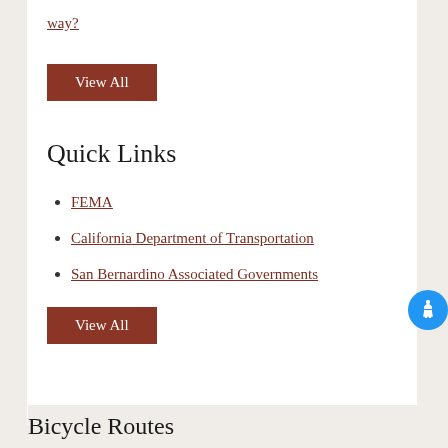way?
View All
Quick Links
FEMA
California Department of Transportation
San Bernardino Associated Governments
View All
Bicycle Routes